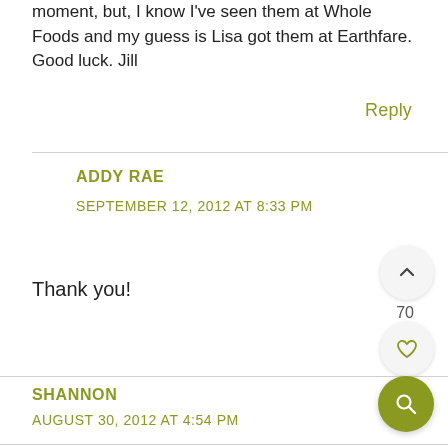moment, but, I know I've seen them at Whole Foods and my guess is Lisa got them at Earthfare. Good luck. Jill
Reply
ADDY RAE
SEPTEMBER 12, 2012 AT 8:33 PM
Thank you!
SHANNON
AUGUST 30, 2012 AT 4:54 PM